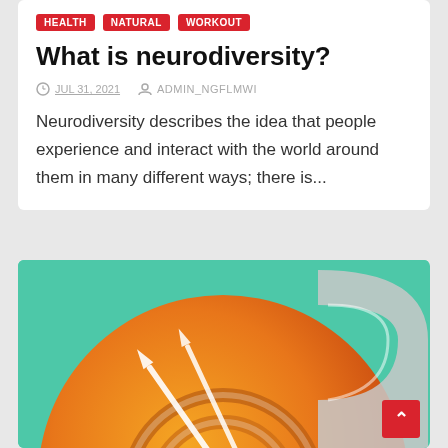HEALTH  NATURAL  WORKOUT
What is neurodiversity?
JUL 31, 2021   ADMIN_NGFLMWI
Neurodiversity describes the idea that people experience and interact with the world around them in many different ways; there is...
[Figure (illustration): Illustration showing a target/bullseye with arrow on an orange gradient circle against a teal background, with a grey arrow shape on the right side]